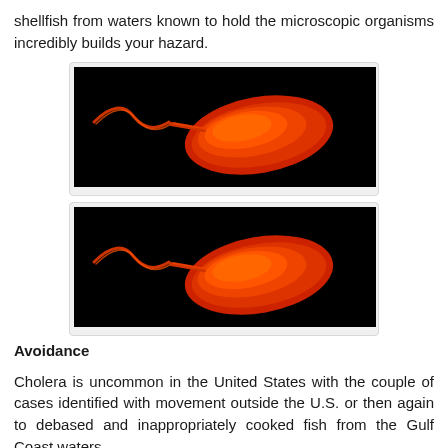shellfish from waters known to hold the microscopic organisms incredibly builds your hazard.
[Figure (photo): Microscopic image of a Vibrio cholerae bacterium glowing orange against a black background, showing its curved body and flagellum tail. Two nearly identical photos shown stacked vertically.]
Avoidance
Cholera is uncommon in the United States with the couple of cases identified with movement outside the U.S. or then again to debased and inappropriately cooked fish from the Gulf Coast waters.